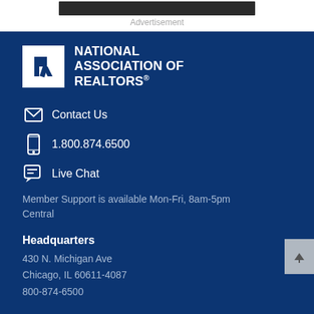[Figure (photo): Dark advertisement banner image at the top]
Advertisement
[Figure (logo): National Association of REALTORS logo: white box with stylized R, white text NATIONAL ASSOCIATION OF REALTORS® on dark blue background]
Contact Us
1.800.874.6500
Live Chat
Member Support is available Mon-Fri, 8am-5pm Central
Headquarters
430 N. Michigan Ave
Chicago, IL 60611-4087
800-874-6500